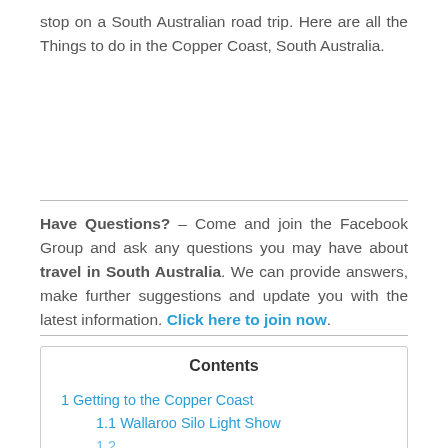stop on a South Australian road trip. Here are all the Things to do in the Copper Coast, South Australia.
Have Questions? – Come and join the Facebook Group and ask any questions you may have about travel in South Australia. We can provide answers, make further suggestions and update you with the latest information. Click here to join now.
1 Getting to the Copper Coast
1.1 Wallaroo Silo Light Show
1.2 ...